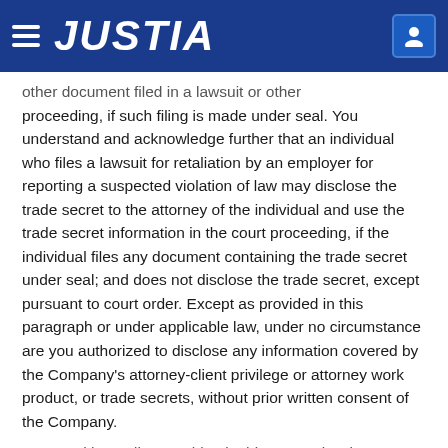JUSTIA
other document filed in a lawsuit or other proceeding, if such filing is made under seal. You understand and acknowledge further that an individual who files a lawsuit for retaliation by an employer for reporting a suspected violation of law may disclose the trade secret to the attorney of the individual and use the trade secret information in the court proceeding, if the individual files any document containing the trade secret under seal; and does not disclose the trade secret, except pursuant to court order. Except as provided in this paragraph or under applicable law, under no circumstance are you authorized to disclose any information covered by the Company's attorney-client privilege or attorney work product, or trade secrets, without prior written consent of the Company.
9.  Notwithstanding anything in this General Release to